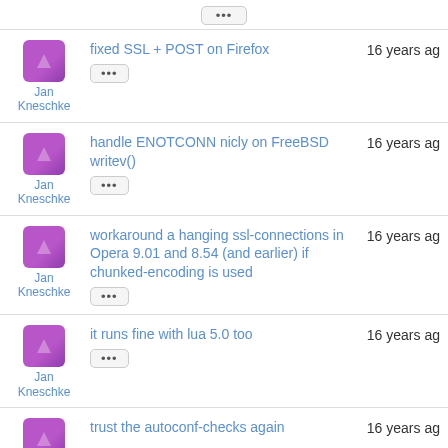...
Jan Kneschke | fixed SSL + POST on Firefox | 16 years ago
Jan Kneschke | handle ENOTCONN nicly on FreeBSD writev() | 16 years ago
Jan Kneschke | workaround a hanging ssl-connections in Opera 9.01 and 8.54 (and earlier) if chunked-encoding is used | 16 years ago
Jan Kneschke | it runs fine with lua 5.0 too | 16 years ago
Jan Kneschke | trust the autoconf-checks again | 16 years ago